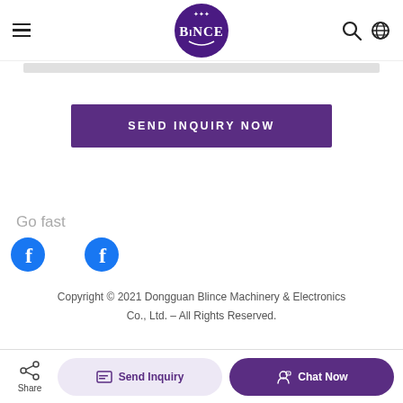[Figure (logo): Blince brand logo — purple oval with white decorative crown and text 'BlNCE' with flourish]
SEND INQUIRY NOW
Go fast
[Figure (illustration): Two Facebook 'f' circular blue icons side by side]
Copyright © 2021 Dongguan Blince Machinery & Electronics Co., Ltd. – All Rights Reserved.
Share | Send Inquiry | Chat Now